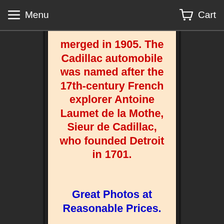Menu  Cart
merged in 1905. The Cadillac automobile was named after the 17th-century French explorer Antoine Laumet de la Mothe, Sieur de Cadillac, who founded Detroit in 1701.
Great Photos at Reasonable Prices.